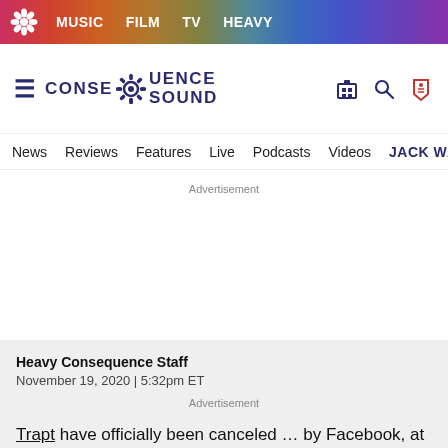MUSIC  FILM  TV  HEAVY
[Figure (logo): Consequence Sound logo with gear icon]
News  Reviews  Features  Live  Podcasts  Videos  JACK WH
Advertisement
Heavy Consequence Staff
November 19, 2020 | 5:32pm ET
Trapt have officially been canceled … by Facebook, at least. Frontman Chris Taylor Brown has been spewing far-right venom all year, and one of his latest posts got the rock
Advertisement